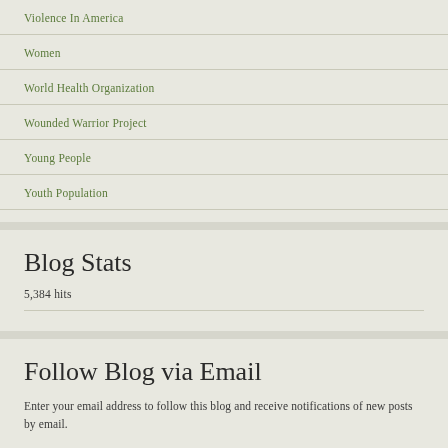Violence In America
Women
World Health Organization
Wounded Warrior Project
Young People
Youth Population
Blog Stats
5,384 hits
Follow Blog via Email
Enter your email address to follow this blog and receive notifications of new posts by email.